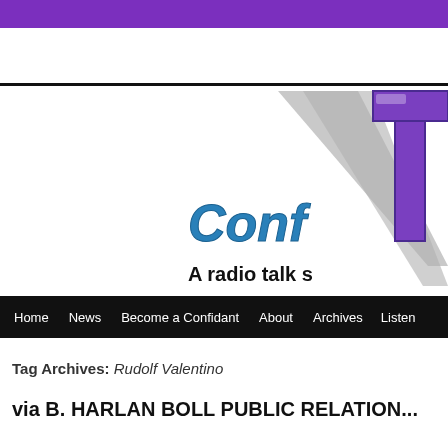[Figure (logo): Purple header bar at top of website]
[Figure (logo): Radio show logo partially visible: stylized letter T with gray diagonal lines, blue cursive text reading 'Conf...' (Confidant), and tagline 'A radio talk s...' on white background with black top border]
Home  News  Become a Confidant  About  Archives  Listen
Tag Archives: Rudolf Valentino
via B. HARLAN BOLL PUBLIC RELATION...